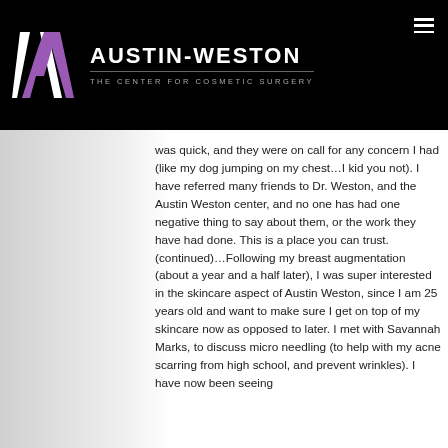[Figure (logo): Austin-Weston The Center for Cosmetic Surgery logo with stylized AW monogram on black background]
was quick, and they were on call for any concern I had (like my dog jumping on my chest…I kid you not). I have referred many friends to Dr. Weston, and the Austin Weston center, and no one has had one negative thing to say about them, or the work they have had done. This is a place you can trust. (continued)…Following my breast augmentation (about a year and a half later), I was super interested in the skincare aspect of Austin Weston, since I am 25 years old and want to make sure I get on top of my skincare now as opposed to later. I met with Savannah Marks, to discuss micro needling (to help with my acne scarring from high school, and prevent wrinkles). I have now been seeing